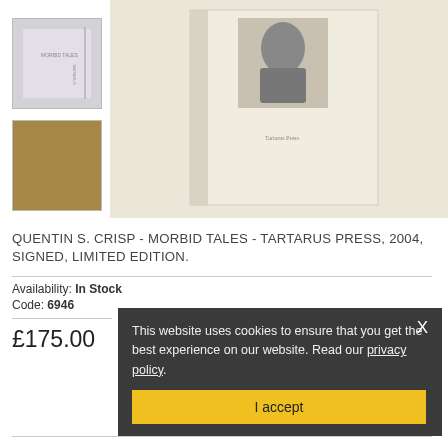[Figure (photo): Small thumbnail of book spine/back cover, light grey tones with text]
[Figure (photo): Small thumbnail showing golden/bronze colored book surface]
[Figure (photo): Main product image of a cream-colored hardback book 'Morbid Tales' by Tartarus Press with a black and white portrait photo on cover]
QUENTIN S. CRISP - MORBID TALES - TARTARUS PRESS, 2004, SIGNED, LIMITED EDITION.
Availability: In Stock
Code: 6946
£175.00
This website uses cookies to ensure that you get the best experience on our website. Read our privacy policy.
I accept